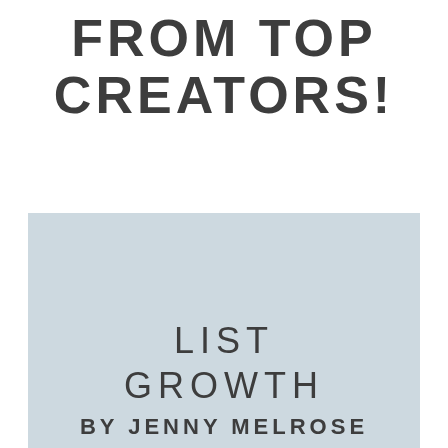FROM TOP CREATORS!
[Figure (illustration): Light blue-grey rectangular box covering the lower portion of the page containing text 'LIST GROWTH BY JENNY MELROSE']
LIST
GROWTH
BY JENNY MELROSE